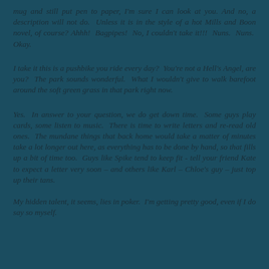mug and still put pen to paper, I'm sure I can look at you. And no, a description will not do. Unless it is in the style of a hot Mills and Boon novel, of course? Ahhh! Bagpipes! No, I couldn't take it!!! Nuns. Nuns. Okay.
I take it this is a pushbike you ride every day? You're not a Hell's Angel, are you? The park sounds wonderful. What I wouldn't give to walk barefoot around the soft green grass in that park right now.
Yes. In answer to your question, we do get down time. Some guys play cards, some listen to music. There is time to write letters and re-read old ones. The mundane things that back home would take a matter of minutes take a lot longer out here, as everything has to be done by hand, so that fills up a bit of time too. Guys like Spike tend to keep fit - tell your friend Kate to expect a letter very soon – and others like Karl – Chloe's guy – just top up their tans.
My hidden talent, it seems, lies in poker. I'm getting pretty good, even if I do say so myself.